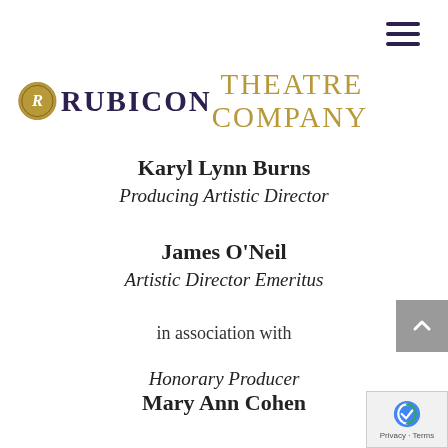[Figure (logo): Rubicon Theatre Company logo with circular emblem and text 'RUBICON THEATRE COMPANY']
Karyl Lynn Burns
Producing Artistic Director
James O'Neil
Artistic Director Emeritus
in association with
Honorary Producer
Mary Ann Cohen